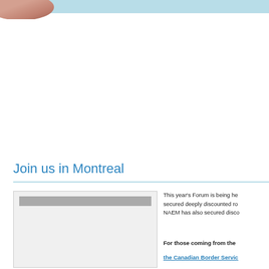[Figure (photo): Partial photo of a person's hand or face at top-left corner of the page header]
Join us in Montreal
[Figure (map): Map image placeholder showing a location map]
This year's Forum is being he... secured deeply discounted ro... NAEM has also secured disco...
For those coming from the
the Canadian Border Servic...